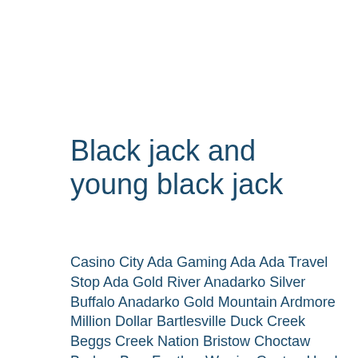Black jack and young black jack
Casino City Ada Gaming Ada Ada Travel Stop Ada Gold River Anadarko Silver Buffalo Anadarko Gold Mountain Ardmore Million Dollar Bartlesville Duck Creek Beggs Creek Nation Bristow Choctaw Broken Bow Feather Warrior Canton Hard Rock Catoosa Choctaw Checotah Will Rogers Claremore Golden Pony Clearview Lucky Star Clinton Lucky Star Concho Treasure Valley Davis Red River Devol Kiowa Devol Chisholm Trail Duncan Choctaw Durant Choctaw Durant